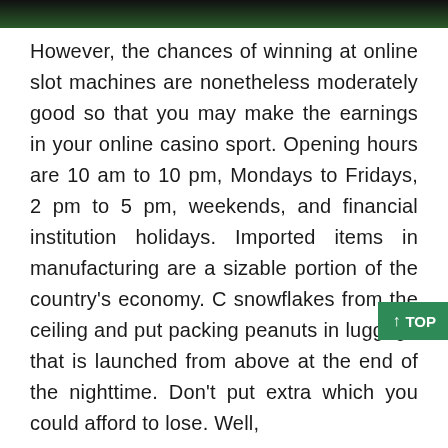[Figure (photo): Top portion of an image showing a dark background with green tones, likely a casino table or gaming surface.]
However, the chances of winning at online slot machines are nonetheless moderately good so that you may make the earnings in your online casino sport. Opening hours are 10 am to 10 pm, Mondays to Fridays, 2 pm to 5 pm, weekends, and financial institution holidays. Imported items in manufacturing are a sizable portion of the country's economy. C snowflakes from the ceiling and put packing peanuts in luggage that is launched from above at the end of the nighttime. Don't put extra which you could afford to lose. Well,